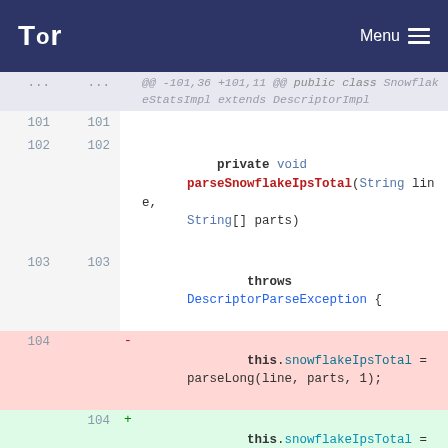Tor | Menu
[Figure (screenshot): Code diff view showing Java source file with line numbers. Removed line 104: this.snowflakeIpsTotal = parseLong(line, parts, 1); Added line 104: this.snowflakeIpsTotal = ParseHelper.parseLong(line, parts, 1);]
@@ -101,36 +101,11 @@ public class SnowflakeStatsImpl extends DescriptorImpl
101 101
102 102   private void parseSnowflakeIpsTotal(String line, String[] parts)
103 103     throws DescriptorParseException {
104 -   this.snowflakeIpsTotal = parseLong(line, parts, 1);
    104 +   this.snowflakeIpsTotal = ParseHelper.parseLong(line, parts, 1);
105 105   }
106 106
107 107   private void parseSnowflakeIdleCount(String line, String[] parts)
108 108     throws
DescriptorParseException {